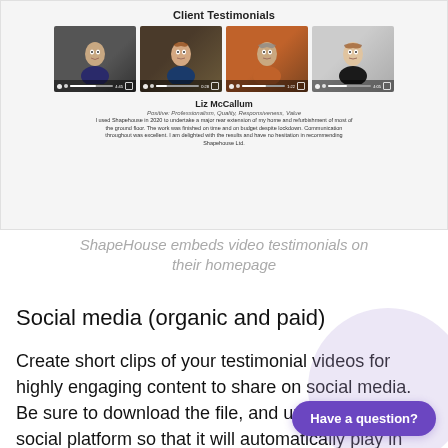[Figure (screenshot): Screenshot of ShapeHouse website showing Client Testimonials section with 4 video thumbnails of clients, and a written testimonial from Liz McCallum with badges for Professionalism, Quality, Responsiveness, Value]
ShapeHouse embeds video testimonials on their homepage
Social media (organic and paid)
Create short clips of your testimonial videos for highly engaging content to share on social media. Be sure to download the file, and upload it to the social platform so that it will automatically play in the feed. We've seen best results from starting the video on...